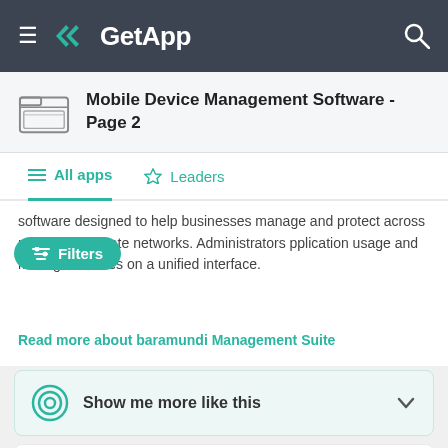GetApp
Mobile Device Management Software - Page 2
All apps  Leaders
software designed to help businesses manage and protect across multiple corporate networks. Administrators pplication usage and manage licenses on a unified interface.
Read more about baramundi Management Suite
Show me more like this
AirDroid Business
5.0  (2)